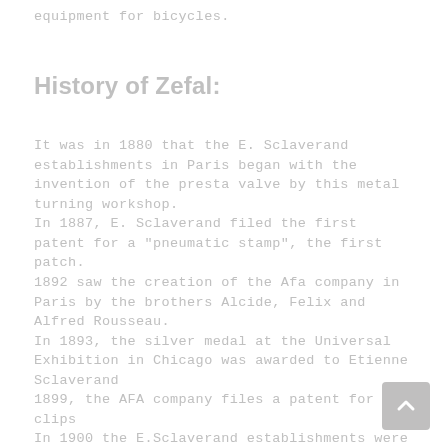equipment for bicycles.
History of Zefal:
It was in 1880 that the E. Sclaverand establishments in Paris began with the invention of the presta valve by this metal turning workshop.
In 1887, E. Sclaverand filed the first patent for a "pneumatic stamp", the first patch.
1892 saw the creation of the Afa company in Paris by the brothers Alcide, Felix and Alfred Rousseau.
In 1893, the silver medal at the Universal Exhibition in Chicago was awarded to Etienne Sclaverand
1899, the AFA company files a patent for toe clips
In 1900 the E.Sclaverand establishments were bought by Edouard-Charles Morin
1919, AFA is acquired by Louis Poutrait
1922, the Poutrait establishments acquired the footrest developed by Eugène Christophe
1923, the Tornade and Rafale brands are created by the Morin